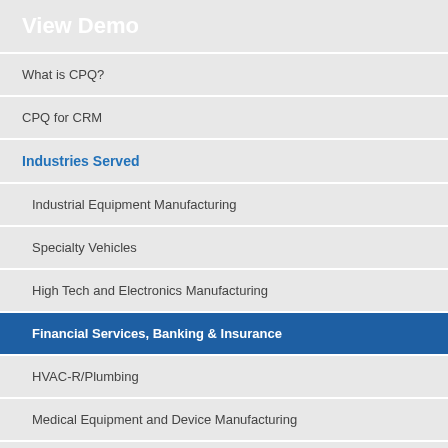View Demo
What is CPQ?
CPQ for CRM
Industries Served
Industrial Equipment Manufacturing
Specialty Vehicles
High Tech and Electronics Manufacturing
Financial Services, Banking & Insurance
HVAC-R/Plumbing
Medical Equipment and Device Manufacturing
Utilities, Energy, Power Generation
Solve My Challenges